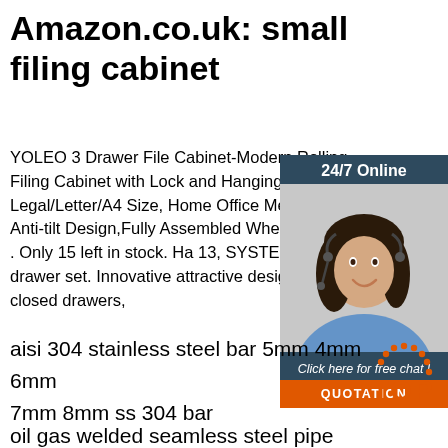Amazon.co.uk: small filing cabinet
YOLEO 3 Drawer File Cabinet-Modern Rolling Filing Cabinet with Lock and Hanging Fr… Legal/Letter/A4 Size, Home Office Metal Cabinet Anti-tilt Design,Fully Assembled Wheels (White) . Only 15 left in stock. Ha 13, SYSTEMBOX drawer set. Innovative attractive design with 5 closed drawers,
[Figure (photo): Chat widget with a customer service woman wearing a headset, dark blue background, '24/7 Online' text, 'Click here for free chat!' and 'QUOTATION' button in orange]
Get Price
aisi 304 stainless steel bar 5mm 4mm 6mm 7mm 8mm ss 304 bar
oil gas welded seamless steel pipe tube
[Figure (logo): TOP logo with orange dots forming an arc above the letters TOP in orange]